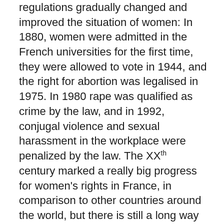regulations gradually changed and improved the situation of women: In 1880, women were admitted in the French universities for the first time, they were allowed to vote in 1944, and the right for abortion was legalised in 1975. In 1980 rape was qualified as crime by the law, and in 1992, conjugal violence and sexual harassment in the workplace were penalized by the law. The XXth century marked a really big progress for women's rights in France, in comparison to other countries around the world, but there is still a long way to go. Even though France may be considered a free and respectful country of human rights, the question of equality between men and women in the society is still hot: Women are still discriminated against in France, and they are victims of many injustices in the every day life : sexism, violence, unequal pay at work...
But this way to go is becoming every day shorter and